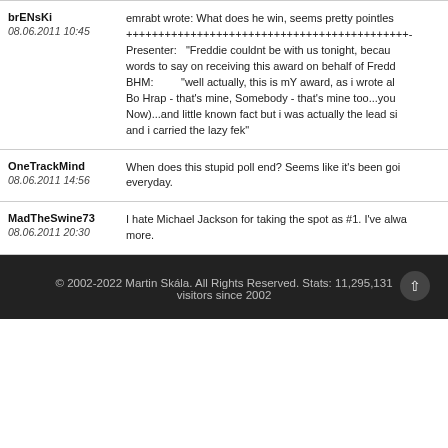emrabt wrote: What does he win, seems pretty pointles +++++++++++++++++++++++++++++++++++++++++- Presenter: "Freddie couldnt be with us tonight, becau words to say on receiving this award on behalf of Fredd BHM: "well actually, this is mY award, as i wrote al Bo Hrap - that's mine, Somebody - that's mine too...you Now)...and little known fact but i was actually the lead si and i carried the lazy fek"
brENsKi
08.06.2011 10:45
When does this stupid poll end? Seems like it's been goi everyday.
OneTrackMind
08.06.2011 14:56
I hate Michael Jackson for taking the spot as #1. I've alwa more.
MadTheSwine73
08.06.2011 20:30
© 2002-2022 Martin Skála. All Rights Reserved. Stats: 11,295,131 visitors since 2002